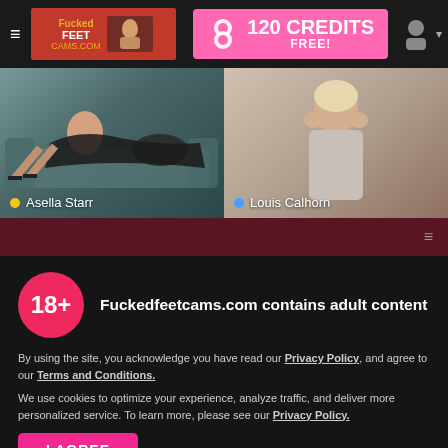≡ Fuckedfeetcams.com | 120 CREDITS FREE!
[Figure (screenshot): Two webcam thumbnails side by side: left shows Asella Starr (yellow dot), right shows Louis Calhorn (blue dot)]
Fuckedfeetcams.com contains adult content
By using the site, you acknowledge you have read our Privacy Policy, and agree to our Terms and Conditions.
We use cookies to optimize your experience, analyze traffic, and deliver more personalized service. To learn more, please see our Privacy Policy.
I AGREE